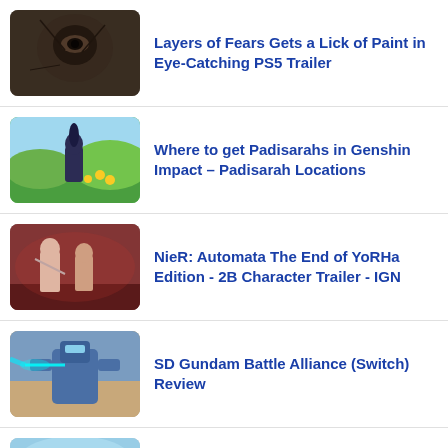Layers of Fears Gets a Lick of Paint in Eye-Catching PS5 Trailer
Where to get Padisarahs in Genshin Impact – Padisarah Locations
NieR: Automata The End of YoRHa Edition - 2B Character Trailer - IGN
SD Gundam Battle Alliance (Switch) Review
Alameda Research Co. CEO Sam